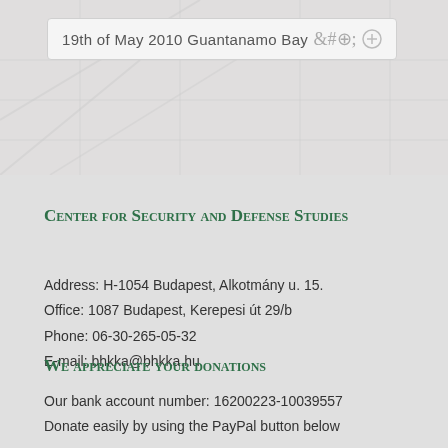[Figure (screenshot): Map background with a search/input bar showing '19th of May 2010 Guantanamo Bay' and a plus icon on the right]
Center for Security and Defense Studies
Address: H-1054 Budapest, Alkotmány u. 15.
Office: 1087 Budapest, Kerepesi út 29/b
Phone: 06-30-265-05-32
E-mail: bhkka@bhkka.hu
We appreciate your donations
Our bank account number: 16200223-10039557
Donate easily by using the PayPal button below